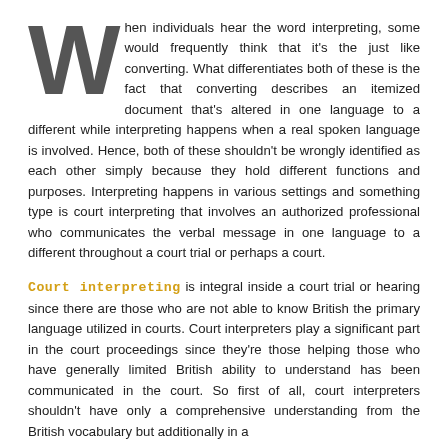When individuals hear the word interpreting, some would frequently think that it's the just like converting. What differentiates both of these is the fact that converting describes an itemized document that's altered in one language to a different while interpreting happens when a real spoken language is involved. Hence, both of these shouldn't be wrongly identified as each other simply because they hold different functions and purposes. Interpreting happens in various settings and something type is court interpreting that involves an authorized professional who communicates the verbal message in one language to a different throughout a court trial or perhaps a court.
Court interpreting is integral inside a court trial or hearing since there are those who are not able to know British the primary language utilized in courts. Court interpreters play a significant part in the court proceedings since they're those helping those who have generally limited British ability to understand has been communicated in the court. So first of all, court interpreters shouldn't have only a comprehensive understanding from the British vocabulary but additionally in a